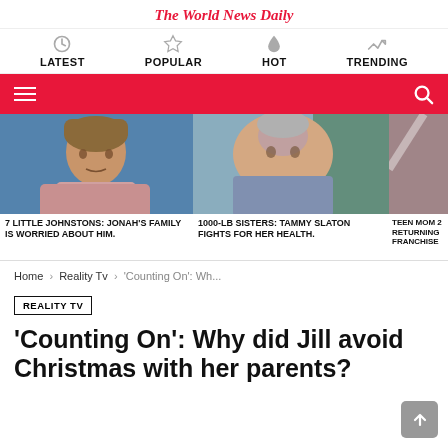The World News Daily
LATEST | POPULAR | HOT | TRENDING
[Figure (screenshot): Red navigation toolbar with hamburger menu icon on left and search icon on right]
[Figure (photo): Thumbnail photo of young man (7 Little Johnstons story)]
7 LITTLE JOHNSTONS: JONAH'S FAMILY IS WORRIED ABOUT HIM.
[Figure (photo): Thumbnail photo of heavy-set woman (1000-lb Sisters story)]
1000-LB SISTERS: TAMMY SLATON FIGHTS FOR HER HEALTH.
[Figure (photo): Partial thumbnail of Teen Mom story]
TEEN MOM 2 RETURNING FRANCHISE
Home › Reality Tv › 'Counting On': Wh...
REALITY TV
'Counting On': Why did Jill avoid Christmas with her parents?